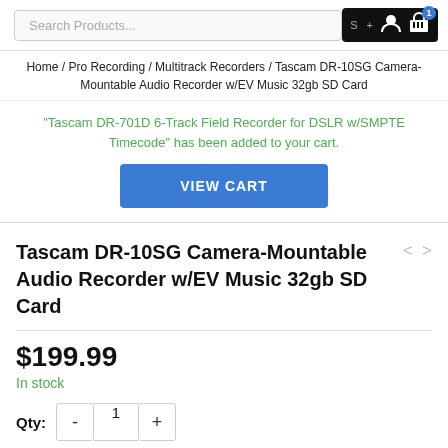Search Products...
Home / Pro Recording / Multitrack Recorders / Tascam DR-10SG Camera-Mountable Audio Recorder w/EV Music 32gb SD Card
"Tascam DR-701D 6-Track Field Recorder for DSLR w/SMPTE Timecode" has been added to your cart.
VIEW CART
Tascam DR-10SG Camera-Mountable Audio Recorder w/EV Music 32gb SD Card
$199.99
In stock
Qty: 1
ADD TO CART